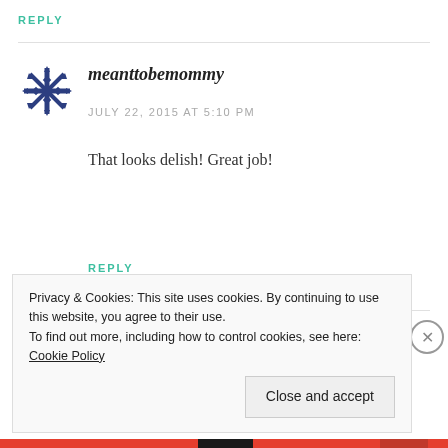REPLY
[Figure (illustration): Decorative snowflake/star avatar icon in navy blue]
meanttobemommy
JULY 22, 2015 AT 5:10 PM
That looks delish! Great job!
REPLY
Privacy & Cookies: This site uses cookies. By continuing to use this website, you agree to their use.
To find out more, including how to control cookies, see here: Cookie Policy
Close and accept